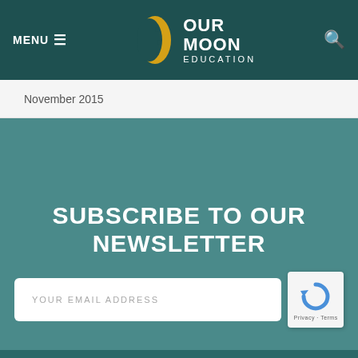MENU  OUR MOON EDUCATION
November 2015
SUBSCRIBE TO OUR NEWSLETTER
YOUR EMAIL ADDRESS